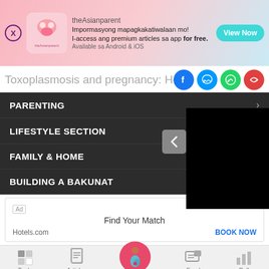[Figure (screenshot): theAsianparent app advertisement banner with logo, tagline in Filipino, and View Now button]
Toxoplasmosis and pregnancy: Here's
[Figure (screenshot): Social sharing icons: Facebook, Messenger, WhatsApp, Share]
[Figure (screenshot): Navigation menu with dark background showing PARENTING, LIFESTYLE SECTION, FAMILY & HOME, BUILDING A BAKUNAT items, with a black video panel overlay and previous button]
[Figure (screenshot): Google Ad unit for Hotels.com - Find Your Match with BOOK NOW CTA]
[Figure (screenshot): Bottom navigation bar with Tools, Articles, Home (pregnant woman icon), Feed, Poll icons]
We use cookies to ensure you get the best experience.
Learn More   Ok, Got it